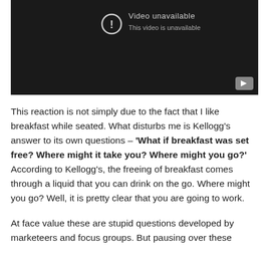[Figure (screenshot): YouTube-style video player showing 'Video unavailable / This video is unavailable' message on a dark background with a YouTube button in the bottom right.]
This reaction is not simply due to the fact that I like breakfast while seated. What disturbs me is Kellogg's answer to its own questions – 'What if breakfast was set free? Where might it take you? Where might you go?' According to Kellogg's, the freeing of breakfast comes through a liquid that you can drink on the go. Where might you go? Well, it is pretty clear that you are going to work.
At face value these are stupid questions developed by marketeers and focus groups. But pausing over these